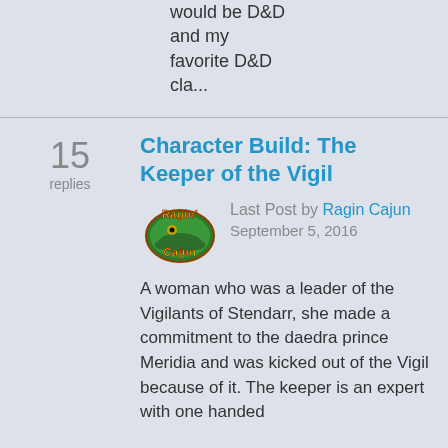would be D&D and my favorite D&D cla...
15 replies
Character Build: The Keeper of the Vigil
[Figure (logo): Ragin Cajun avatar logo with colorful text and alligator]
Last Post by Ragin Cajun
September 5, 2016
A woman who was a leader of the Vigilants of Stendarr, she made a commitment to the daedra prince Meridia and was kicked out of the Vigil because of it. The keeper is an expert with one handed